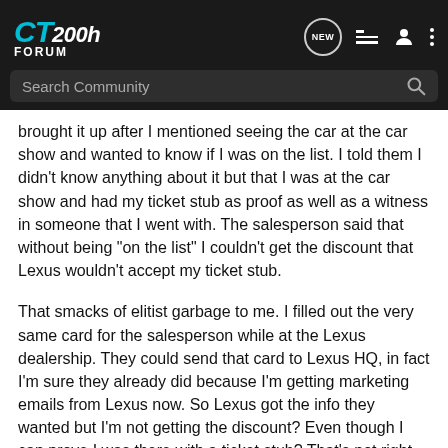CT200h FORUM
Search Community
brought it up after I mentioned seeing the car at the car show and wanted to know if I was on the list. I told them I didn't know anything about it but that I was at the car show and had my ticket stub as proof as well as a witness in someone that I went with. The salesperson said that without being "on the list" I couldn't get the discount that Lexus wouldn't accept my ticket stub.
That smacks of elitist garbage to me. I filled out the very same card for the salesperson while at the Lexus dealership. They could send that card to Lexus HQ, in fact I'm sure they already did because I'm getting marketing emails from Lexus now. So Lexus got the info they wanted but I'm not getting the discount? Even though I can prove I was there with a ticket stub? That's not right.